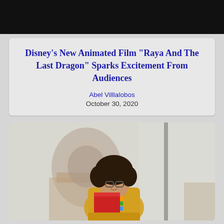[Figure (photo): Dark black banner/header image at the top of the page]
Disney’s New Animated Film “Raya And The Last Dragon” Sparks Excitement From Audiences
Abel Villlalobos
October 30, 2020
[Figure (photo): Photo of a young woman with curly hair and glasses, wearing a yellow jacket, holding a red notebook/folder, standing outdoors in front of a large domed building]